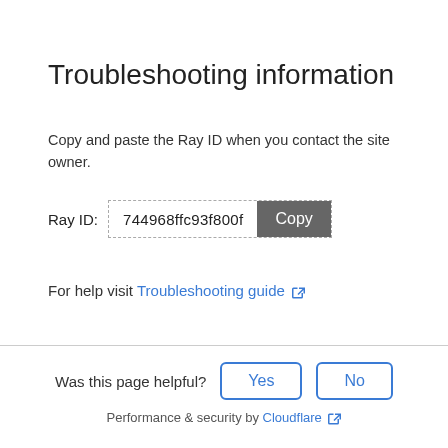Troubleshooting information
Copy and paste the Ray ID when you contact the site owner.
Ray ID: 744968ffc93f800f [Copy]
For help visit Troubleshooting guide
Was this page helpful? Yes No
Performance & security by Cloudflare